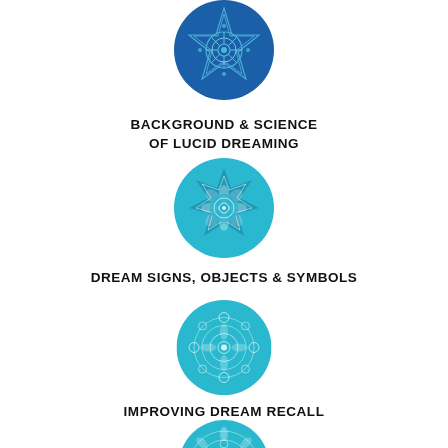[Figure (illustration): Blue circular mandala icon with star/geometric pattern, dark blue background]
BACKGROUND & SCIENCE OF LUCID DREAMING
[Figure (illustration): Teal/blue circular mandala icon with 7-petal star flower pattern]
DREAM SIGNS, OBJECTS & SYMBOLS
[Figure (illustration): Teal circular mandala icon with round floral geometric pattern]
IMPROVING DREAM RECALL
[Figure (illustration): Teal circular mandala icon with intricate floral pattern, partially visible at bottom]